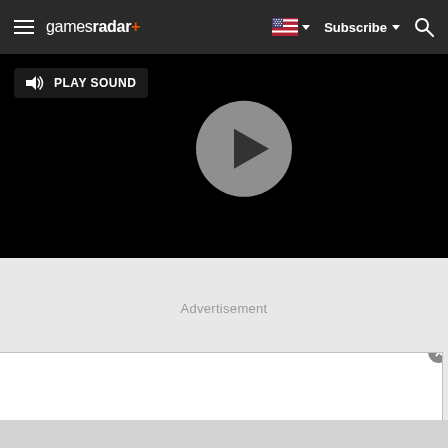gamesradar+ — Subscribe
[Figure (screenshot): Video player with black background, circular play button overlay, and PLAY SOUND button in top-left corner]
Advertisement
[Figure (screenshot): White panel overlay with close button (X) in top-right corner, partial advertisement panel at bottom of page]